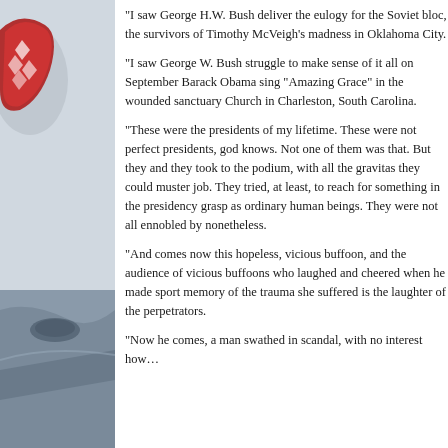[Figure (photo): Left side image showing what appears to be a decorative red and white patterned object and a partial view of an aircraft or military vehicle, serving as a background/sidebar image.]
“I saw George H.W. Bush deliver the eulogy for the Soviet bloc, the survivors of Timothy McVeigh’s madness in Oklahoma City.
“I saw George W. Bush struggle to make sense of it all on September Barack Obama sing “Amazing Grace” in the wounded sanctuary Church in Charleston, South Carolina.
“These were the presidents of my lifetime. These were not perfect presidents, god knows. Not one of them was that. But they and they took to the podium, with all the gravitas they could muster job. They tried, at least, to reach for something in the presidency grasp as ordinary human beings. They were not all ennobled by nonetheless.
“And comes now this hopeless, vicious buffoon, and the audience of vicious buffoons who laughed and cheered when he made sport memory of the trauma she suffered is the laughter of the perpetrators.
“Now he comes, a man swathed in scandal, with no interest how…